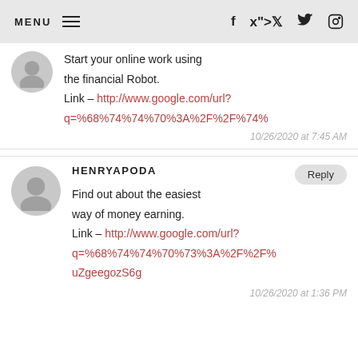MENU [hamburger icon] [facebook icon] [twitter icon] [instagram icon]
Start your online work using the financial Robot. Link – http://www.google.com/url? q=%68%74%74%70%3A%2F%2F%74%
10/26/2020 at 7:45 AM
HENRYAPODA
Find out about the easiest way of money earning. Link – http://www.google.com/url? q=%68%74%74%70%73%3A%2F%2F% uZgeegozS6g
10/26/2020 at 1:36 PM